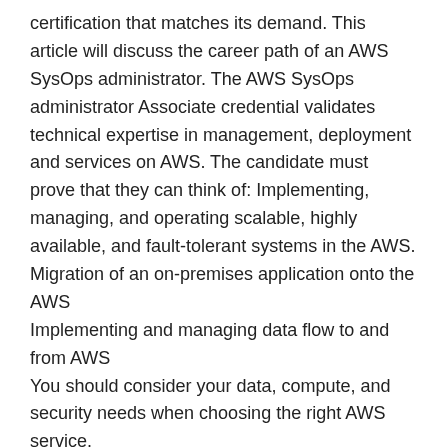certification that matches its demand. This article will discuss the career path of an AWS SysOps administrator. The AWS SysOps administrator Associate credential validates technical expertise in management, deployment and services on AWS. The candidate must prove that they can think of: Implementing, managing, and operating scalable, highly available, and fault-tolerant systems in the AWS.
Migration of an on-premises application onto the AWS
Implementing and managing data flow to and from AWS
You should consider your data, compute, and security needs when choosing the right AWS service.
Recognizing the importance of proper AWS operation best practices.
Regulating AWS usage and identifying operational cost